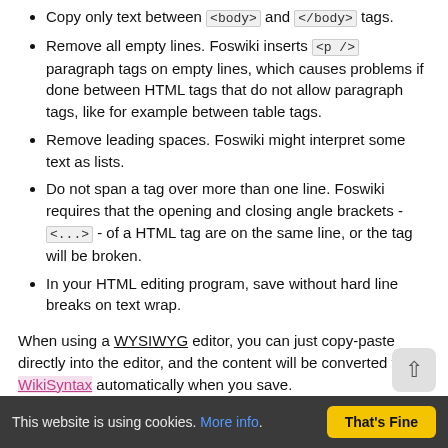Copy only text between <body> and </body> tags.
Remove all empty lines. Foswiki inserts <p /> paragraph tags on empty lines, which causes problems if done between HTML tags that do not allow paragraph tags, like for example between table tags.
Remove leading spaces. Foswiki might interpret some text as lists.
Do not span a tag over more than one line. Foswiki requires that the opening and closing angle brackets - <...> - of a HTML tag are on the same line, or the tag will be broken.
In your HTML editing program, save without hard line breaks on text wrap.
When using a WYSIWYG editor, you can just copy-paste directly into the editor, and the content will be converted to WikiSyntax automatically when you save.
Macros
Macros are names enclosed in percent signs that are that are
This website is using cookies. More info. That's Fine